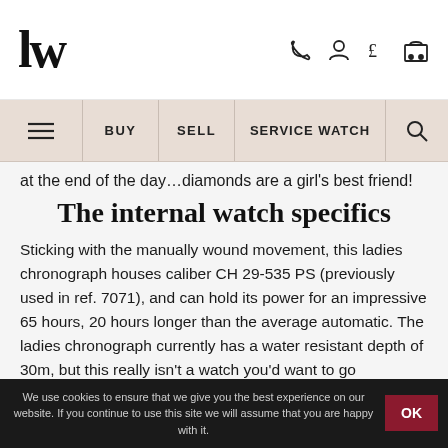LW [logo] — phone, account, currency (£), cart icons
≡  BUY  SELL  SERVICE WATCH  🔍
at the end of the day…diamonds are a girl's best friend!
The internal watch specifics
Sticking with the manually wound movement, this ladies chronograph houses caliber CH 29-535 PS (previously used in ref. 7071), and can hold its power for an impressive 65 hours, 20 hours longer than the average automatic. The ladies chronograph currently has a water resistant depth of 30m, but this really isn't a watch you'd want to go swimming and diving in regularly!
We use cookies to ensure that we give you the best experience on our website. If you continue to use this site we will assume that you are happy with it.